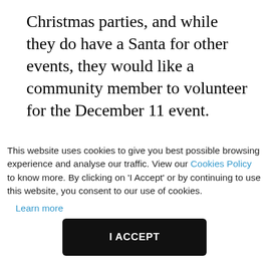Christmas parties, and while they do have a Santa for other events, they would like a community member to volunteer for the December 11 event.
This website uses cookies to give you best possible browsing experience and analyse our traffic. View our Cookies Policy to know more. By clicking on 'I Accept' or by continuing to use this website, you consent to our use of cookies.
Learn more
I ACCEPT